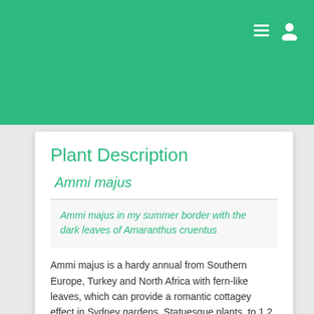Plant Description
Ammi majus
Ammi majus in my summer border with the dark leaves of Amaranthus cruentus
Ammi majus is a hardy annual from Southern Europe, Turkey and North Africa with fern-like leaves, which can provide a romantic cottagey effect in Sydney gardens. Statuesque plants, to 1.2 m in height, they bloom for a number of weeks in late spring and early summer, with broad slightly domed heads comprised of